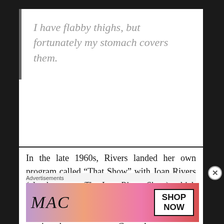I have flabby thighs, but fortunately my stomach covers them.
In the late 1960s, Rivers landed her own program called “That Show” with Joan Rivers (also known as The Joan Rivers Show), which featured guests like Florence Henderson, Soupy Sales and Jerry Lewis. She also continued to appear on Carson’s program as well as The Ed Sullivan Show. Before long, Rivers became a household name.
Advertisements
[Figure (other): MAC Cosmetics advertisement banner showing lipsticks and SHOP NOW button]